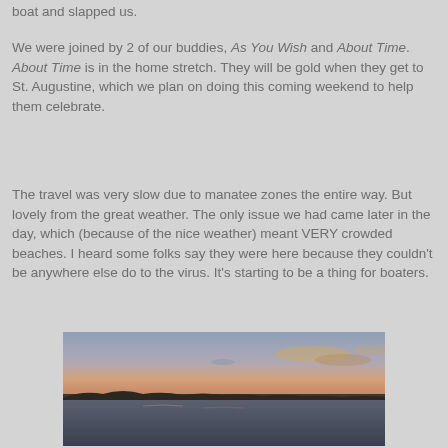boat and slapped us.
We were joined by 2 of our buddies, As You Wish and About Time. About Time is in the home stretch. They will be gold when they get to St. Augustine, which we plan on doing this coming weekend to help them celebrate.
The travel was very slow due to manatee zones the entire way. But lovely from the great weather. The only issue we had came later in the day, which (because of the nice weather) meant VERY crowded beaches. I heard some folks say they were here because they couldn't be anywhere else do to the virus. It's starting to be a thing for boaters.
[Figure (photo): A sunset over calm water with a flat horizon line and orange-tinted sky with scattered clouds]